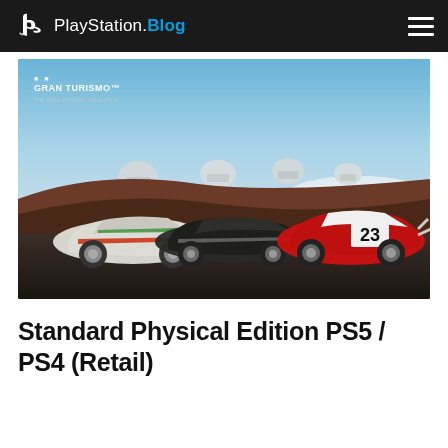PlayStation.Blog
[Figure (photo): Gran Turismo branded image showing three racing cars parked on a dark volcanic surface at a high-altitude location with observatory domes and clouds in the background. Cars include a white Toyota Supra racing livery on the left, a dark Mazda Vision Gran Turismo concept in the center, and a red and white car with number 23 on the right.]
Standard Physical Edition PS5 / PS4 (Retail)